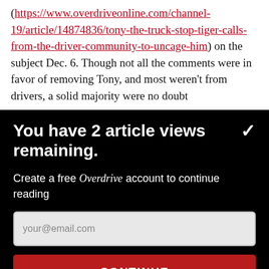(https://www.overdriveonline.com/channel-19/article/14874836/tony-the-truck-stop-tiger-calls-from-the-driver-community-to-uncage-him) on the subject Dec. 6. Though not all the comments were in favor of removing Tony, and most weren't from drivers, a solid majority were no doubt
You have 2 article views remaining.
Create a free Overdrive account to continue reading
your@email.com
CONTINUE